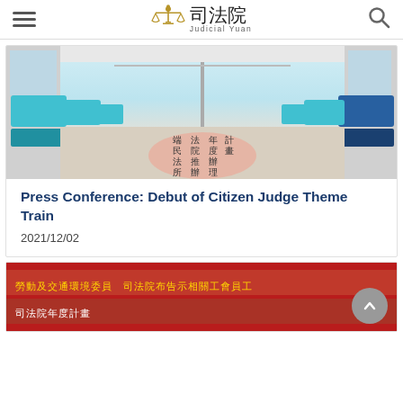司法院 Judicial Yuan
[Figure (photo): Interior of a train car with teal/blue seats on both sides, aisle with pink oval floor graphic displaying Chinese characters for Judicial Yuan Citizen Judge Program]
Press Conference: Debut of Citizen Judge Theme Train
2021/12/02
[Figure (photo): Red LED display board with yellow/white Chinese text scrolling — partial view at bottom of page]